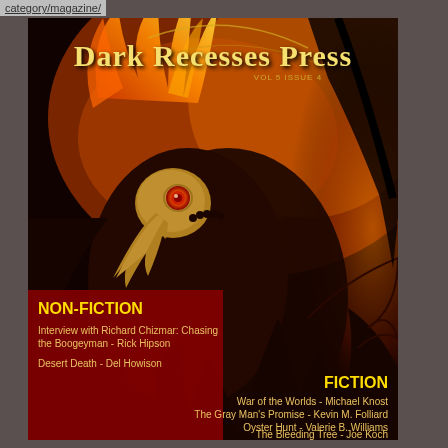category/magazine/
[Figure (illustration): Dark Recesses Press magazine cover featuring a dark fantasy illustration of a large black bird/raven with glowing red eye, orange flame feathers on its head, set against a fiery orange and dark brown background. The magazine title 'Dark Recesses Press' appears at the top in gold/yellow gothic lettering. VOL 5 ISSUE listed below title. Cover lists Non-Fiction and Fiction contents at the bottom.]
Dark Recesses Press
NON-FICTION
Interview with Richard Chizmar: Chasing the Boogeyman - Rick Hipson
Desert Death - Del Howison
FICTION
War of the Worlds - Michael Knost
The Gray Man's Promise - Kevin M. Folliard
Oyster Hunt - Valerie B. Williams
The Bleeding Tree - Joe Koch